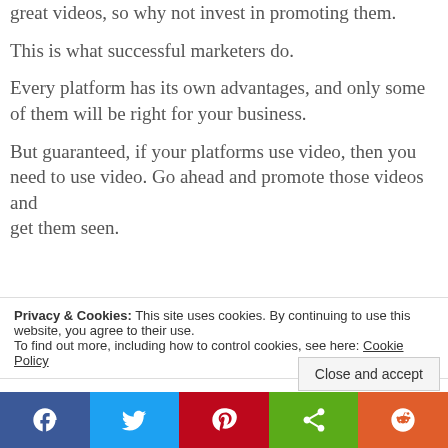great videos, so why not invest in promoting them.
This is what successful marketers do.
Every platform has its own advantages, and only some of them will be right for your business.
But guaranteed, if your platforms use video, then you need to use video. Go ahead and promote those videos and get them seen.
Privacy & Cookies: This site uses cookies. By continuing to use this website, you agree to their use.
To find out more, including how to control cookies, see here: Cookie Policy
Close and accept